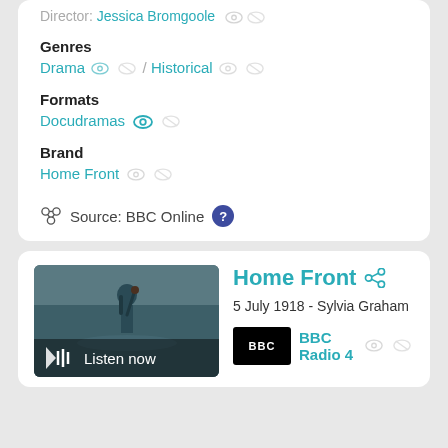Director: Jessica Bromgoole
Genres
Drama / Historical
Formats
Docudramas
Brand
Home Front
Source: BBC Online
[Figure (screenshot): Home Front episode thumbnail showing a person with a tool/implement against a grey-green background with 'Listen now' overlay]
Home Front
5 July 1918 - Sylvia Graham
BBC Radio 4